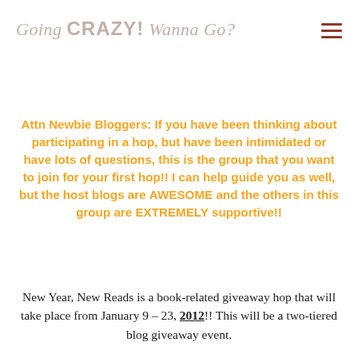Going CRAZY! Wanna Go?
Attn Newbie Bloggers: If you have been thinking about participating in a hop, but have been intimidated or have lots of questions, this is the group that you want to join for your first hop!! I can help guide you as well, but the host blogs are AWESOME and the others in this group are EXTREMELY supportive!!
New Year, New Reads is a book-related giveaway hop that will take place from January 9 – 23, 2012!! This will be a two-tiered blog giveaway event.